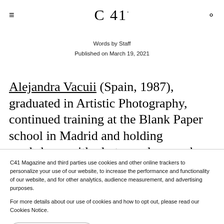≡  C 41  🔍
Words by Staff
Published on March 19, 2021
Alejandra Vacuii (Spain, 1987), graduated in Artistic Photography, continued training at the Blank Paper school in Madrid and holding workshops with photographers such as Óscar Molina or David
C41 Magazine and third parties use cookies and other online trackers to personalize your use of our website, to increase the performance and functionality of our website, and for other analytics, audience measurement, and advertising purposes.

For more details about our use of cookies and how to opt out, please read our Cookies Notice.
ACCEPT AND CLOSE